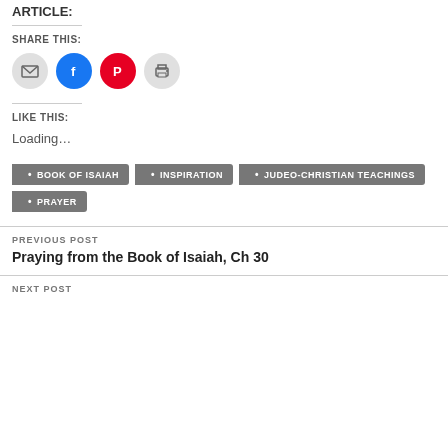SHARE THIS:
[Figure (infographic): Four social sharing icon buttons in circles: email (grey), Facebook (blue), Pinterest (red), print (grey)]
LIKE THIS:
Loading...
BOOK OF ISAIAH
INSPIRATION
JUDEO-CHRISTIAN TEACHINGS
PRAYER
PREVIOUS POST
Praying from the Book of Isaiah, Ch 30
NEXT POST